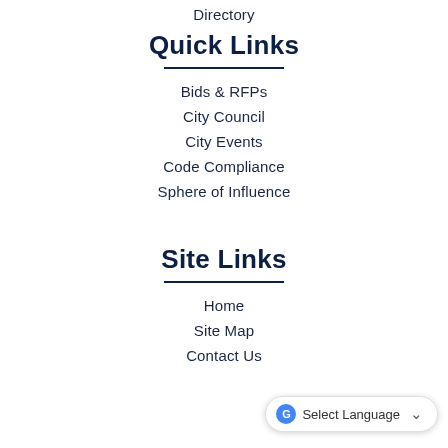Directory
Quick Links
Bids & RFPs
City Council
City Events
Code Compliance
Sphere of Influence
Site Links
Home
Site Map
Contact Us